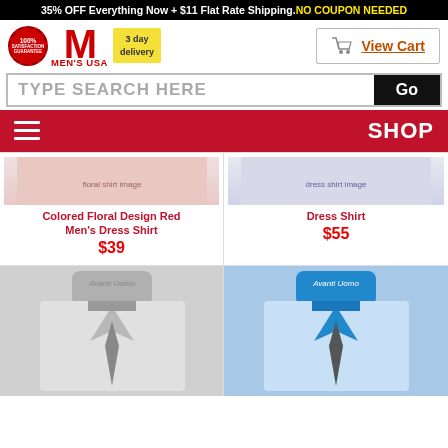35% OFF Everything Now + $11 Flat Rate Shipping. NO COUPON NEEDED
[Figure (logo): Men's USA logo with 100% satisfaction guarantee badge, large red M, and 3 day delivery tag]
[Figure (other): View Cart button with shopping cart icon]
TYPE SEARCH HERE
Go
SHOP
Colored Floral Design Red Men's Dress Shirt
$39
Dress Shirt
$55
[Figure (photo): Men's charcoal gray dress shirt with collar and tie, Avanti Uomo brand]
[Figure (photo): Men's blue dress shirt with collar and tie, Avanti Uomo brand]